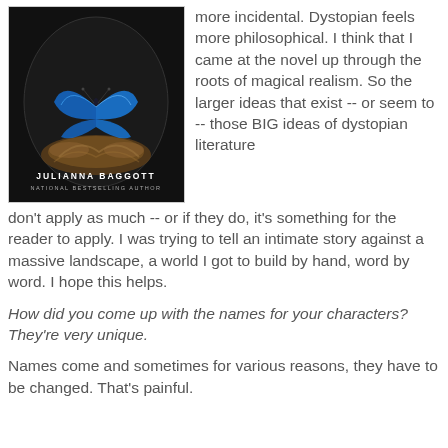[Figure (photo): Book cover of a novel by Julianna Baggott, National Bestselling Author, showing a blue butterfly inside a dark glass dome with feathers, on a black background.]
more incidental. Dystopian feels more philosophical. I think that I came at the novel up through the roots of magical realism. So the larger ideas that exist -- or seem to -- those BIG ideas of dystopian literature don't apply as much -- or if they do, it's something for the reader to apply. I was trying to tell an intimate story against a massive landscape, a world I got to build by hand, word by word. I hope this helps.
How did you come up with the names for your characters? They're very unique.
Names come and sometimes for various reasons, they have to be changed. That's painful.